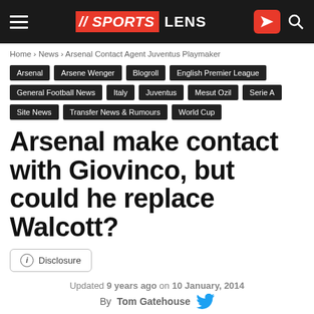SPORTS LENS
Home › News › Arsenal Contact Agent Juventus Playmaker
Arsenal
Arsene Wenger
Blogroll
English Premier League
General Football News
Italy
Juventus
Mesut Ozil
Serie A
Site News
Transfer News & Rumours
World Cup
Arsenal make contact with Giovinco, but could he replace Walcott?
ⓘ Disclosure
Updated 9 years ago on 10 January, 2014
By Tom Gatehouse
Join our Telegram channel to stay up to date on breaking news coverage